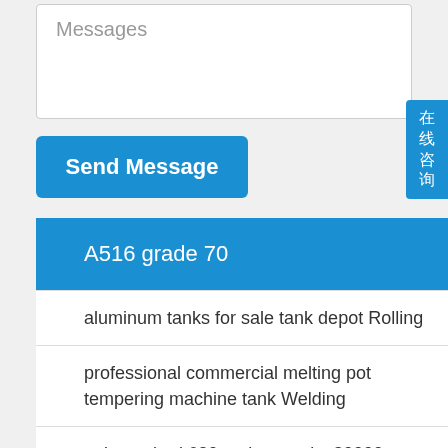Messages
Send Message
A516 grade 70
aluminum tanks for sale tank depot Rolling
professional commercial melting pot tempering machine tank Welding
api standard 620 tank capacity 30000 m&#179; Cutting
titan 50000 liters petrol fuel tanker refueling tank trail boring